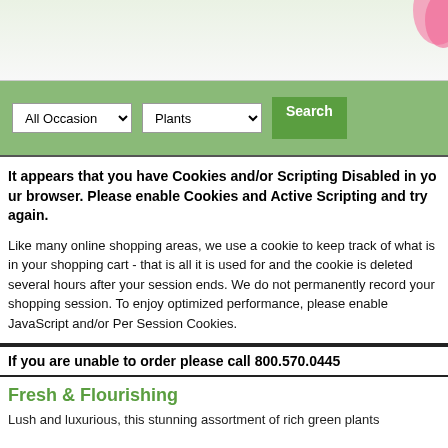[Figure (photo): Website header with light green/white gradient background and pink flower visible in top-right corner]
[Figure (screenshot): Navigation bar with green background containing two dropdown selects (All Occasion, Plants) and a Search button]
It appears that you have Cookies and/or Scripting Disabled in your browser. Please enable Cookies and Active Scripting and try again.
Like many online shopping areas, we use a cookie to keep track of what is in your shopping cart - that is all it is used for and the cookie is deleted several hours after your session ends. We do not permanently record your shopping session. To enjoy optimized performance, please enable JavaScript and/or Per Session Cookies.
If you are unable to order please call 800.570.0445
Fresh & Flourishing
Lush and luxurious, this stunning assortment of rich green plants